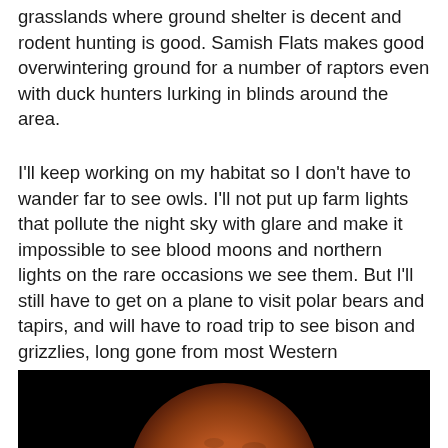grasslands where ground shelter is decent and rodent hunting is good.  Samish Flats makes good overwintering ground for a number of raptors even with duck hunters lurking in blinds around the area.
I'll keep working on my habitat so I don't have to wander far to see owls.  I'll not put up farm lights that pollute the night sky with glare and make it impossible to see blood moons and northern lights on the rare occasions we see them. But I'll still have to get on a plane to visit polar bears and tapirs, and will have to road trip to see bison and grizzlies, long gone from most Western landscapes. Like everyone else in this changing world, I will chase nature.
[Figure (photo): A blood moon (lunar eclipse) photographed against a dark black night sky, showing an orange-red colored moon partially visible at the bottom of the frame.]